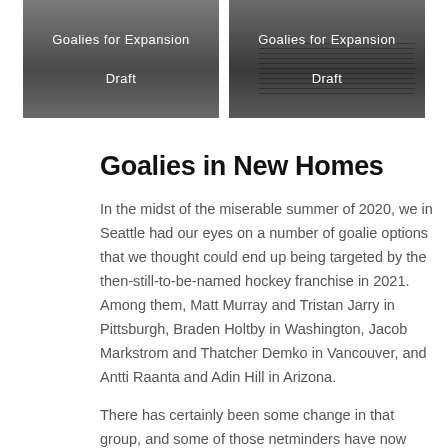[Figure (illustration): Grey box with text 'Goalies for Expansion Draft' (left thumbnail)]
[Figure (illustration): Grey box with text 'Goalies for Expansion Draft' and striped lines (right thumbnail)]
Goalies in New Homes
In the midst of the miserable summer of 2020, we in Seattle had our eyes on a number of goalie options that we thought could end up being targeted by the then-still-to-be-named hockey franchise in 2021. Among them, Matt Murray and Tristan Jarry in Pittsburgh, Braden Holtby in Washington, Jacob Markstrom and Thatcher Demko in Vancouver, and Antti Raanta and Adin Hill in Arizona.
There has certainly been some change in that group, and some of those netminders have now